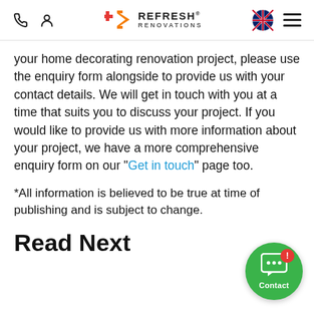Refresh Renovations - navigation header with phone icon, user icon, logo, NZ flag, and hamburger menu
your home decorating renovation project, please use the enquiry form alongside to provide us with your contact details. We will get in touch with you at a time that suits you to discuss your project. If you would like to provide us with more information about your project, we have a more comprehensive enquiry form on our "Get in touch" page too.
*All information is believed to be true at time of publishing and is subject to change.
Read Next